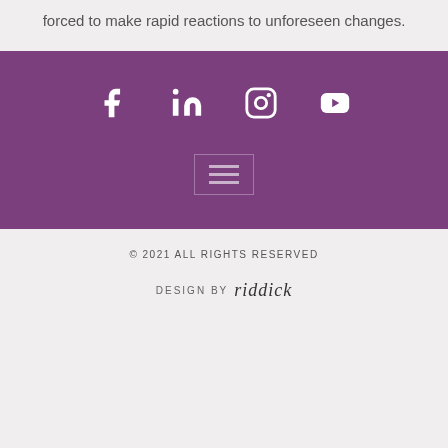forced to make rapid reactions to unforeseen changes.
[Figure (infographic): Purple footer banner with social media icons: Facebook, LinkedIn, Instagram, YouTube, and a hamburger menu icon]
© 2021 ALL RIGHTS RESERVED
DESIGN BY riddick